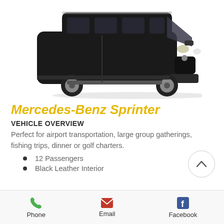[Figure (photo): Black Mercedes-Benz Sprinter van, three-quarter front view on white background]
Mercedes-Benz Sprinter
VEHICLE OVERVIEW
Perfect for airport transportation, large group gatherings, fishing trips, dinner or golf charters.
12 Passengers
Black Leather Interior
Phone   Email   Facebook